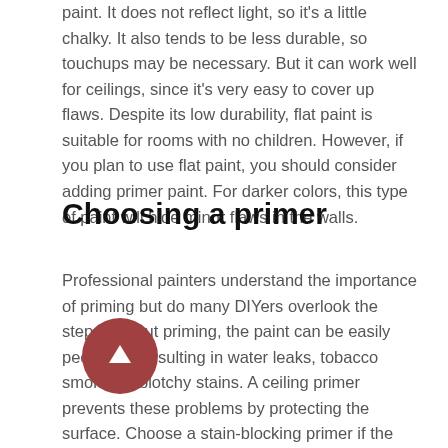paint. It does not reflect light, so it's a little chalky. It also tends to be less durable, so touchups may be necessary. But it can work well for ceilings, since it's very easy to cover up flaws. Despite its low durability, flat paint is suitable for rooms with no children. However, if you plan to use flat paint, you should consider adding primer paint. For darker colors, this type of paint will hide minor flaws in the walls.
Choosing a primer
Professional painters understand the importance of priming but do many DIYers overlook the step. Without priming, the paint can be easily peeled off, resulting in water leaks, tobacco smoke, or blotchy stains. A ceiling primer prevents these problems by protecting the surface. Choose a stain-blocking primer if the ceiling is porous. If the ceiling is painted without priming, you may want to use a matte paint to avoid peeling or chipping.
[Figure (other): A circular scroll-up button with a brown/red background and a white upward arrow icon, overlaid on the text.]